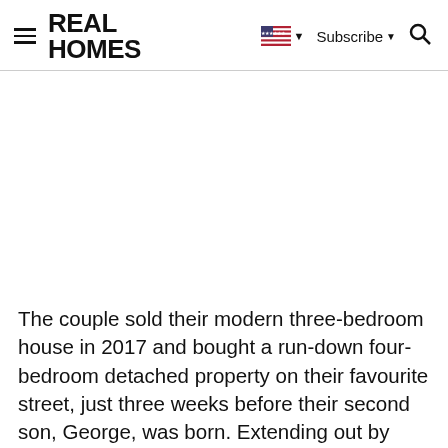REAL HOMES
The couple sold their modern three-bedroom house in 2017 and bought a run-down four-bedroom detached property on their favourite street, just three weeks before their second son, George, was born. Extending out by three metres, the